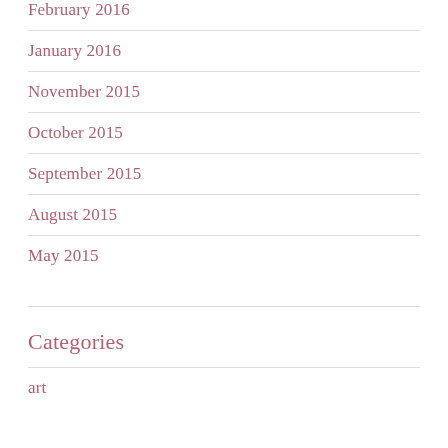February 2016
January 2016
November 2015
October 2015
September 2015
August 2015
May 2015
Categories
art